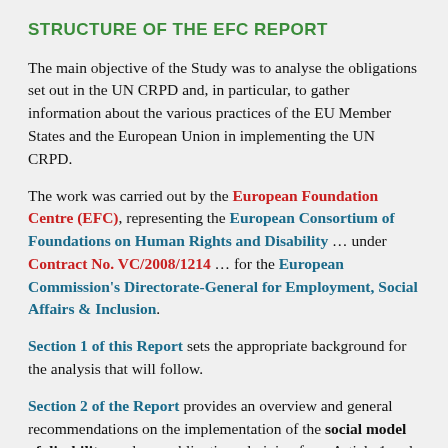STRUCTURE OF THE EFC REPORT
The main objective of the Study was to analyse the obligations set out in the UN CRPD and, in particular, to gather information about the various practices of the EU Member States and the European Union in implementing the UN CRPD.
The work was carried out by the European Foundation Centre (EFC), representing the European Consortium of Foundations on Human Rights and Disability ... under Contract No. VC/2008/1214 ... for the European Commission's Directorate-General for Employment, Social Affairs & Inclusion.
Section 1 of this Report sets the appropriate background for the analysis that will follow.
Section 2 of the Report provides an overview and general recommendations on the implementation of the social model of disability, and core obligations deriving from Article 1 and Preamble Paragraph (e) of the UN